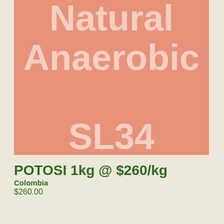[Figure (illustration): Salmon/coral colored product card background with large white bold text reading 'Natural Anaerobic SL34']
POTOSI 1kg @ $260/kg
Colombia
$260.00